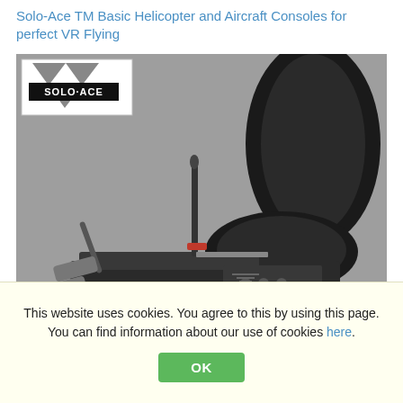Solo-Ace TM Basic Helicopter and Aircraft Consoles for perfect VR Flying
[Figure (photo): Photo of a Solo-Ace flight simulator cockpit with a black seat, joystick/cyclic control, collective lever, and rudder pedals on a grey background. The Solo-Ace logo is visible in the top-left corner of the image.]
This website uses cookies. You agree to this by using this page. You can find information about our use of cookies here.